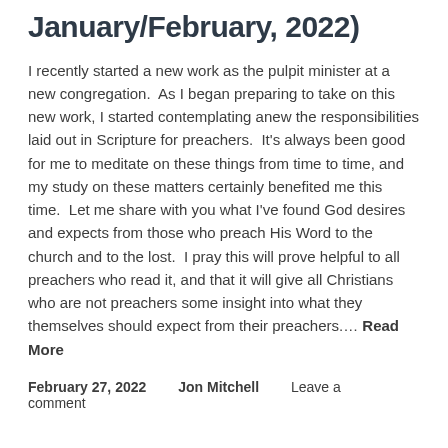January/February, 2022)
I recently started a new work as the pulpit minister at a new congregation.  As I began preparing to take on this new work, I started contemplating anew the responsibilities laid out in Scripture for preachers.  It's always been good for me to meditate on these things from time to time, and my study on these matters certainly benefited me this time.  Let me share with you what I've found God desires and expects from those who preach His Word to the church and to the lost.  I pray this will prove helpful to all preachers who read it, and that it will give all Christians who are not preachers some insight into what they themselves should expect from their preachers.... Read More
February 27, 2022    Jon Mitchell    Leave a comment